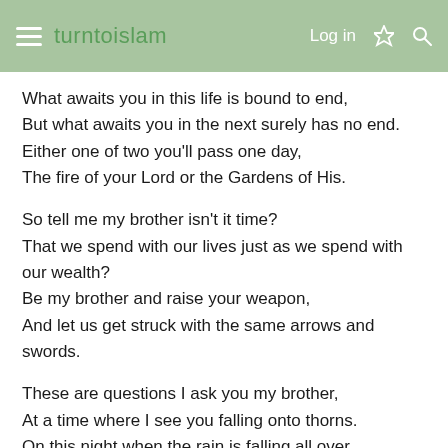turntoislam — Log in
What awaits you in this life is bound to end,
But what awaits you in the next surely has no end.
Either one of two you'll pass one day,
The fire of your Lord or the Gardens of His.
So tell me my brother isn't it time?
That we spend with our lives just as we spend with our wealth?
Be my brother and raise your weapon,
And let us get struck with the same arrows and swords.
These are questions I ask you my brother,
At a time where I see you falling onto thorns.
On this night when the rain is falling all over,
We shall dodge the droplets and remain firm on this way.
For indeed it is time that we ignore the world,
Just like they've ignored us for our entire lives.
Forget the weeping and begin to smile,